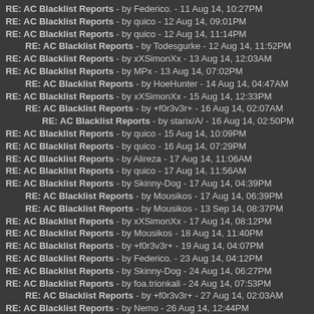RE: AC Blacklist Reports - by Federico. - 11 Aug 14, 10:27PM
RE: AC Blacklist Reports - by quico - 12 Aug 14, 09:01PM
RE: AC Blacklist Reports - by quico - 12 Aug 14, 11:14PM
RE: AC Blacklist Reports - by Todesgurke - 12 Aug 14, 11:52PM
RE: AC Blacklist Reports - by xXSimonXx - 13 Aug 14, 12:03AM
RE: AC Blacklist Reports - by MPx - 13 Aug 14, 07:02PM
RE: AC Blacklist Reports - by HoeHunter - 14 Aug 14, 04:47AM
RE: AC Blacklist Reports - by xXSimonXx - 15 Aug 14, 12:33PM
RE: AC Blacklist Reports - by +f0r3v3r+ - 16 Aug 14, 02:07AM
RE: AC Blacklist Reports - by starix/A/ - 16 Aug 14, 02:50PM
RE: AC Blacklist Reports - by quico - 15 Aug 14, 10:09PM
RE: AC Blacklist Reports - by quico - 16 Aug 14, 07:29PM
RE: AC Blacklist Reports - by Alireza - 17 Aug 14, 11:06AM
RE: AC Blacklist Reports - by quico - 17 Aug 14, 11:56AM
RE: AC Blacklist Reports - by Skinny-Dog - 17 Aug 14, 04:39PM
RE: AC Blacklist Reports - by Mousikos - 17 Aug 14, 06:39PM
RE: AC Blacklist Reports - by Mousikos - 13 Sep 14, 08:37PM
RE: AC Blacklist Reports - by xXSimonXx - 17 Aug 14, 08:12PM
RE: AC Blacklist Reports - by Mousikos - 18 Aug 14, 11:40PM
RE: AC Blacklist Reports - by +f0r3v3r+ - 19 Aug 14, 04:07PM
RE: AC Blacklist Reports - by Federico. - 23 Aug 14, 04:12PM
RE: AC Blacklist Reports - by Skinny-Dog - 24 Aug 14, 06:27PM
RE: AC Blacklist Reports - by foa.trionkali - 24 Aug 14, 07:53PM
RE: AC Blacklist Reports - by +f0r3v3r+ - 27 Aug 14, 02:03AM
RE: AC Blacklist Reports - by Nemo - 26 Aug 14, 12:44PM